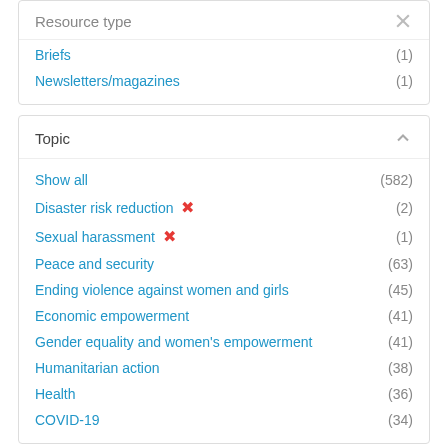Resource type
Briefs (1)
Newsletters/magazines (1)
Topic
Show all (582)
Disaster risk reduction ✕ (2)
Sexual harassment ✕ (1)
Peace and security (63)
Ending violence against women and girls (45)
Economic empowerment (41)
Gender equality and women's empowerment (41)
Humanitarian action (38)
Health (36)
COVID-19 (34)